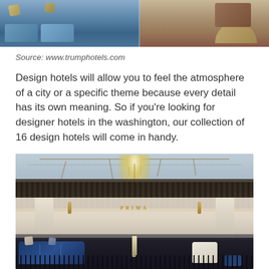[Figure (photo): Top portion of hotel interior photo showing blue sofas with decorative pillows on the left half and beige/tan upholstered seating on the right half]
Source: www.trumphotels.com
Design hotels will allow you to feel the atmosphere of a city or a specific theme because every detail has its own meaning. So if you’re looking for designer hotels in the washington, our collection of 16 design hotels will come in handy.
[Figure (photo): Luxury hotel lobby interior with a large crystal chandelier hanging from a glass-and-steel ceiling, an upper balcony bar area, marble columns, a sign reading PRIMA, blue velvet sofas in the foreground, and a white armchair]